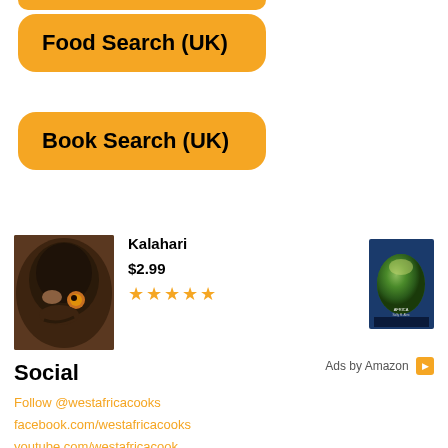[Figure (other): Orange rounded button labeled 'Food Search (UK)' — partially cropped at top]
[Figure (other): Orange rounded button labeled 'Food Search (UK)']
[Figure (other): Orange rounded button labeled 'Book Search (UK)']
[Figure (photo): Close-up photo of a dark bird head (beak and eye visible)]
Kalahari
$2.99
★★★★★
[Figure (photo): Book cover showing satellite image of Africa continent]
Ads by Amazon
Social
Follow @westafricacooks
facebook.com/westafricacooks
youtube.com/westafricacook
instagram.com/westafricacooks